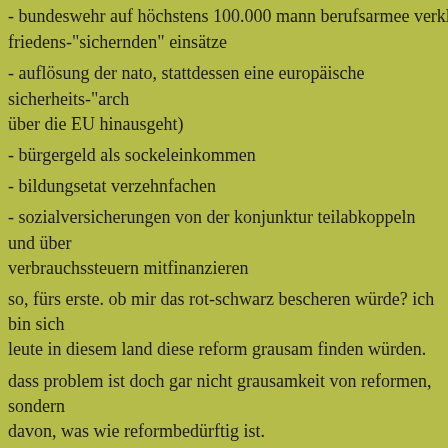- bundeswehr auf höchstens 100.000 mann berufsarmee verkleinern
friedens-"sichernden" einsätze
- auflösung der nato, stattdessen eine europäische sicherheits-"arch über die EU hinausgeht)
- bürgergeld als sockeleinkommen
- bildungsetat verzehnfachen
- sozialversicherungen von der konjunktur teilabkoppeln und über verbrauchssteuern mitfinanzieren
so, fürs erste. ob mir das rot-schwarz bescheren würde? ich bin sich leute in diesem land diese reform grausam finden würden.
dass problem ist doch gar nicht grausamkeit von reformen, sondern davon, was wie reformbedürftig ist.
niels
From andre.schnoor Mon Sep 23 18:28:49 2002
Subject: Re: der tag nach der wahl
>>>irgendwelche vorstellungen, wie es weitergeht?<<<